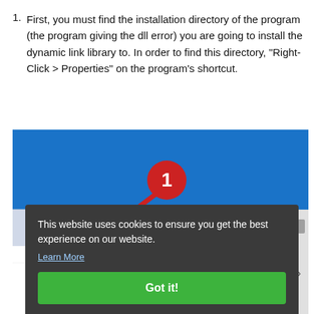First, you must find the installation directory of the program (the program giving the dll error) you are going to install the dynamic link library to. In order to find this directory, "Right-Click > Properties" on the program's shortcut.
[Figure (screenshot): Screenshot of a Windows context menu showing a program shortcut with 'Open' option visible, with a red arrow pointing to the program icon and a red circle with number 1 annotation. A cookie consent banner overlays the bottom portion showing 'This website uses cookies to ensure you get the best experience on our website.' with a 'Learn More' link and a green 'Got it!' button. At the very bottom 'Copy' is visible.]